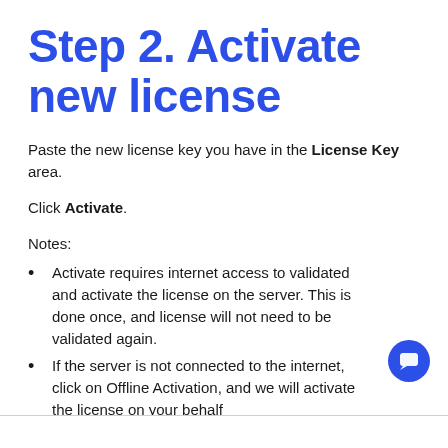Step 2. Activate new license
Paste the new license key you have in the License Key area.
Click Activate.
Notes:
Activate requires internet access to validated and activate the license on the server. This is done once, and license will not need to be validated again.
If the server is not connected to the internet, click on Offline Activation, and we will activate the license on your behalf